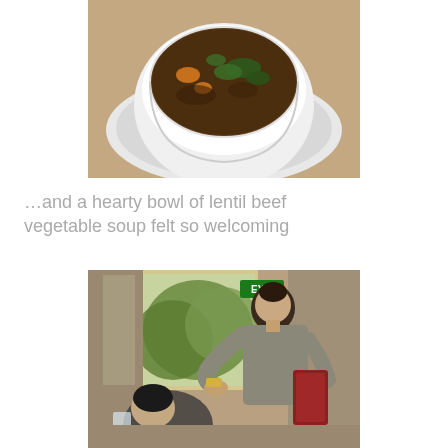[Figure (photo): Top-down view of a white bowl and saucer containing lentil beef vegetable soup with dark broth, vegetables, and greens, on a tan/wooden surface]
…and a hearty bowl of lentil beef vegetable soup felt so welcoming
[Figure (photo): Indoor restaurant scene showing a waitress in a grey top holding a red menu/folder, leaning over a seated guest, with an EXIT sign visible and greenery through a window in the background]